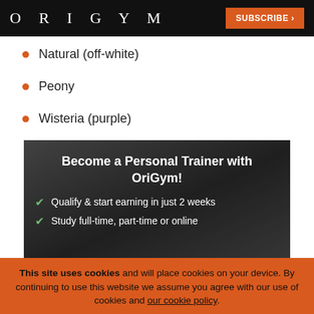ORIGYM | SUBSCRIBE >
Natural (off-white)
Peony
Wisteria (purple)
[Figure (illustration): Dark banner ad for OriGym personal trainer courses with white bold text: 'Become a Personal Trainer with OriGym!' and two checkmarked items: 'Qualify & start earning in just 2 weeks' and 'Study full-time, part-time or online']
This site uses cookies and will place cookies on your device. By continuing to use this website we assume you agree with our use of cookies and our cookie policy.
I agree